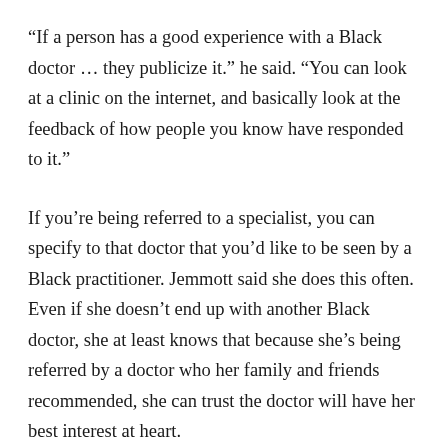“If a person has a good experience with a Black doctor … they publicize it.” he said. “You can look at a clinic on the internet, and basically look at the feedback of how people you know have responded to it.”
If you’re being referred to a specialist, you can specify to that doctor that you’d like to be seen by a Black practitioner. Jemmott said she does this often. Even if she doesn’t end up with another Black doctor, she at least knows that because she’s being referred by a doctor who her family and friends recommended, she can trust the doctor will have her best interest at heart.